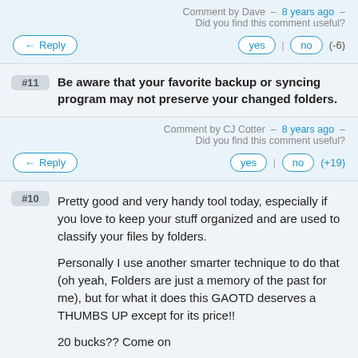Comment by Dave – 8 years ago – Did you find this comment useful?
← Reply | yes | no (-6)
#11 Be aware that your favorite backup or syncing program may not preserve your changed folders.
Comment by CJ Cotter – 8 years ago – Did you find this comment useful?
← Reply | yes | no (+19)
#10 Pretty good and very handy tool today, especially if you love to keep your stuff organized and are used to classify your files by folders.

Personally I use another smarter technique to do that (oh yeah, Folders are just a memory of the past for me), but for what it does this GAOTD deserves a THUMBS UP except for its price!!

20 bucks?? Come on